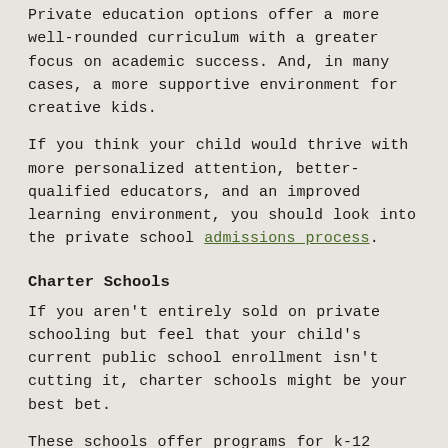Private education options offer a more well-rounded curriculum with a greater focus on academic success. And, in many cases, a more supportive environment for creative kids.
If you think your child would thrive with more personalized attention, better-qualified educators, and an improved learning environment, you should look into the private school admissions process.
Charter Schools
If you aren't entirely sold on private schooling but feel that your child's current public school enrollment isn't cutting it, charter schools might be your best bet.
These schools offer programs for k-12 students, with fewer requirements than public campuses. And, because they aren't state or government-run, they don't have to put the same focus on standardized testing. Simply put